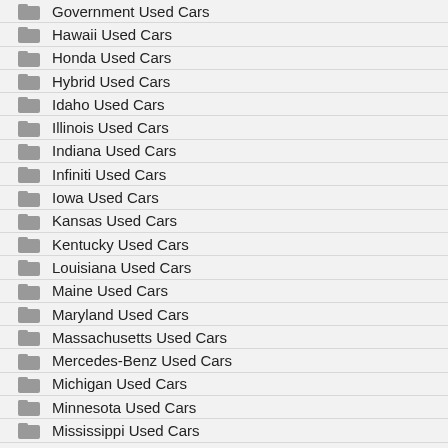Government Used Cars
Hawaii Used Cars
Honda Used Cars
Hybrid Used Cars
Idaho Used Cars
Illinois Used Cars
Indiana Used Cars
Infiniti Used Cars
Iowa Used Cars
Kansas Used Cars
Kentucky Used Cars
Louisiana Used Cars
Maine Used Cars
Maryland Used Cars
Massachusetts Used Cars
Mercedes-Benz Used Cars
Michigan Used Cars
Minnesota Used Cars
Mississippi Used Cars